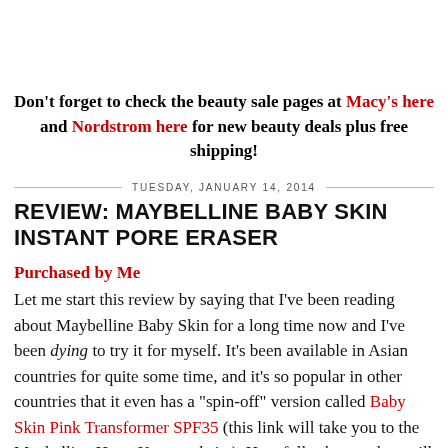Don't forget to check the beauty sale pages at Macy's here and Nordstrom here for new beauty deals plus free shipping!
TUESDAY, JANUARY 14, 2014
REVIEW: MAYBELLINE BABY SKIN INSTANT PORE ERASER
Purchased by Me
Let me start this review by saying that I've been reading about Maybelline Baby Skin for a long time now and I've been dying to try it for myself. It's been available in Asian countries for quite some time, and it's so popular in other countries that it even has a "spin-off" version called Baby Skin Pink Transformer SPF35 (this link will take you to the Maybelline Hong Kong website). Hopefully that product will make it to